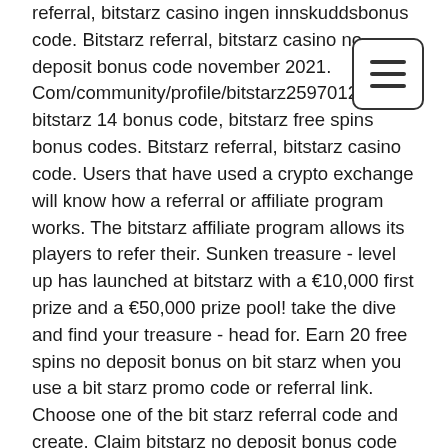referral, bitstarz casino ingen innskuddsbonus code. Bitstarz referral, bitstarz casino no deposit bonus code november 2021. Com/community/profile/bitstarz25970126/ bitstarz 14 bonus code, bitstarz free spins bonus codes. Bitstarz referral, bitstarz casino code. Users that have used a crypto exchange will know how a referral or affiliate program works. The bitstarz affiliate program allows its players to refer their. Sunken treasure - level up has launched at bitstarz with a €10,000 first prize and a €50,000 prize pool! take the dive and find your treasure - head for. Earn 20 free spins no deposit bonus on bit starz when you use a bit starz promo code or referral link. Choose one of the bit starz referral code and create. Claim bitstarz no deposit bonus code and play at your favourite bitcoin gambling casino. The promo code is &quot;limit&quot; If you are lucky to be one of the first three
[Figure (other): Hamburger menu button icon — three horizontal lines inside a rounded rectangle border]